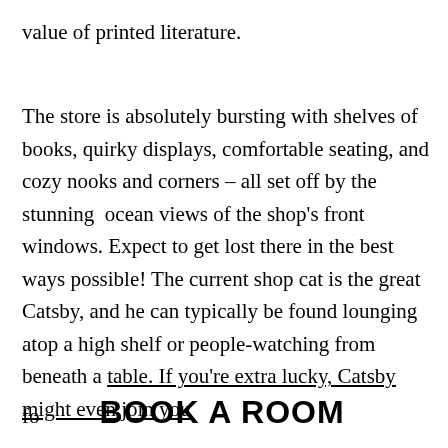value of printed literature.
The store is absolutely bursting with shelves of books, quirky displays, comfortable seating, and cozy nooks and corners – all set off by the stunning  ocean views of the shop's front windows. Expect to get lost there in the best ways possible! The current shop cat is the great Catsby, and he can typically be found lounging atop a high shelf or people-watching from beneath a table. If you're extra lucky, Catsby might even join you fo
BOOK A ROOM